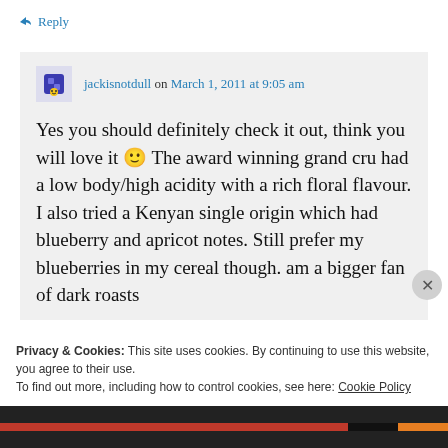↳ Reply
jackisnotdull on March 1, 2011 at 9:05 am
Yes you should definitely check it out, think you will love it 🙂 The award winning grand cru had a low body/high acidity with a rich floral flavour. I also tried a Kenyan single origin which had blueberry and apricot notes. Still prefer my blueberries in my cereal though. am a bigger fan of dark roasts
Privacy & Cookies: This site uses cookies. By continuing to use this website, you agree to their use.
To find out more, including how to control cookies, see here: Cookie Policy
Close and accept